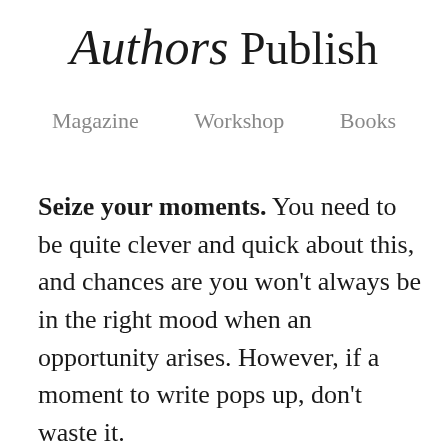Authors Publish
Magazine   Workshop   Books
Seize your moments. You need to be quite clever and quick about this, and chances are you won't always be in the right mood when an opportunity arises. However, if a moment to write pops up, don't waste it.
For example, I keep a notepad and pen next to me when I am feeding the baby. I